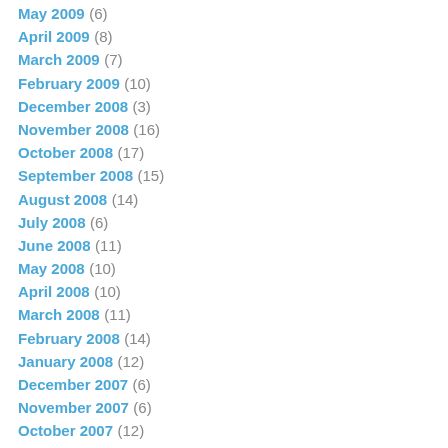May 2009 (6)
April 2009 (8)
March 2009 (7)
February 2009 (10)
December 2008 (3)
November 2008 (16)
October 2008 (17)
September 2008 (15)
August 2008 (14)
July 2008 (6)
June 2008 (11)
May 2008 (10)
April 2008 (10)
March 2008 (11)
February 2008 (14)
January 2008 (12)
December 2007 (6)
November 2007 (6)
October 2007 (12)
September 2007 (12)